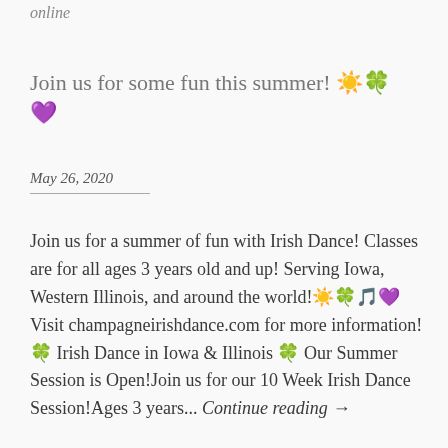online
Join us for some fun this summer! ☀️🍀 💜
May 26, 2020
Join us for a summer of fun with Irish Dance! Classes are for all ages 3 years old and up! Serving Iowa, Western Illinois, and around the world!☀️🍀🎵💜Visit champagneirishdance.com for more information! 🍀 Irish Dance in Iowa & Illinois 🍀 Our Summer Session is Open!Join us for our 10 Week Irish Dance Session!Ages 3 years... Continue reading →